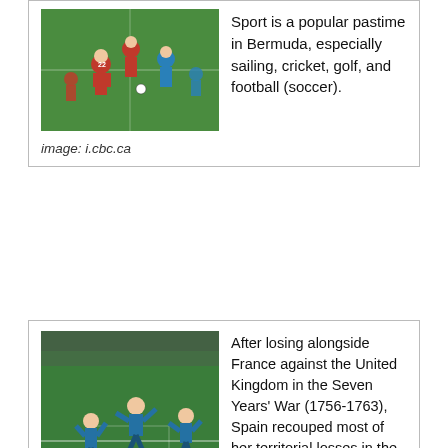[Figure (photo): Soccer players in red and blue jerseys on a field]
Sport is a popular pastime in Bermuda, especially sailing, cricket, golf, and football (soccer).
image: i.cbc.ca
[Figure (photo): Soccer players in blue jerseys celebrating on a field]
After losing alongside France against the United Kingdom in the Seven Years' War (1756-1763), Spain recouped most of her territorial losses in the American Revolutionary War.
image: www.bostonherald.com
[Figure (photo): Portrait painting of Isabella, a historical figure in dark clothing]
Isabella's first and only son, Juan, married Margaret of Austria, maintaining ties with the Habsburg dynasty, on